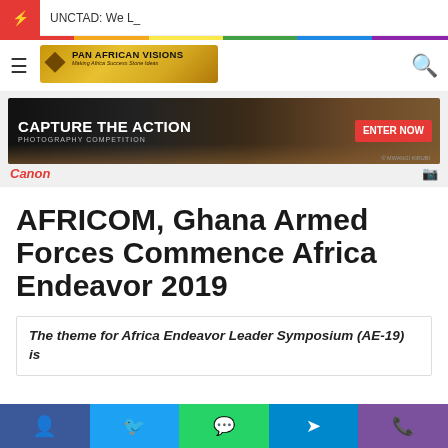UNCTAD: We L_
[Figure (logo): Pan African Visions logo banner with Africa map silhouette and tagline]
[Figure (photo): Canon 'Capture The Action Photography Competition' advertisement banner with rally car image and 'Enter Now' button]
AFRICOM, Ghana Armed Forces Commence Africa Endeavor 2019
The theme for Africa Endeavor Leader Symposium (AE-19) is